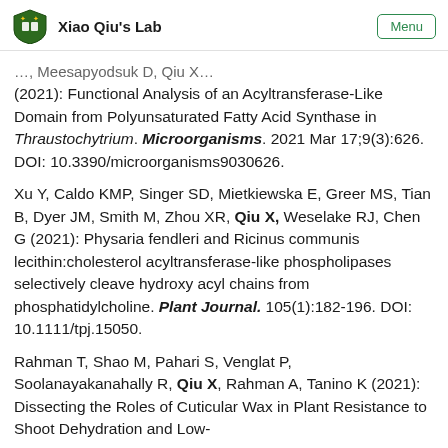Xiao Qiu's Lab | Menu
(2021): Functional Analysis of an Acyltransferase-Like Domain from Polyunsaturated Fatty Acid Synthase in Thraustochytrium. Microorganisms. 2021 Mar 17;9(3):626. DOI: 10.3390/microorganisms9030626.
Xu Y, Caldo KMP, Singer SD, Mietkiewska E, Greer MS, Tian B, Dyer JM, Smith M, Zhou XR, Qiu X, Weselake RJ, Chen G (2021): Physaria fendleri and Ricinus communis lecithin:cholesterol acyltransferase-like phospholipases selectively cleave hydroxy acyl chains from phosphatidylcholine. Plant Journal. 105(1):182-196. DOI: 10.1111/tpj.15050.
Rahman T, Shao M, Pahari S, Venglat P, Soolanayakanahally R, Qiu X, Rahman A, Tanino K (2021): Dissecting the Roles of Cuticular Wax in Plant Resistance to Shoot Dehydration and Low-